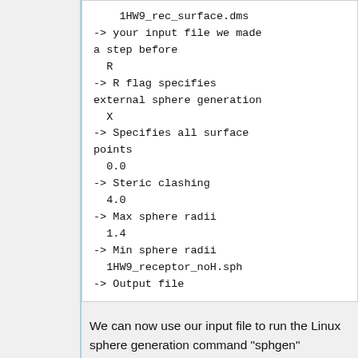1HW9_rec_surface.dms
-> your input file we made a step before
  R
-> R flag specifies external sphere generation
  X
-> Specifies all surface points
  0.0
-> Steric clashing
  4.0
-> Max sphere radii
  1.4
-> Min sphere radii
  1HW9_receptor_noH.sph
-> Output file
We can now use our input file to run the Linux sphere generation command "sphgen"
sphgen -i INSPH -o